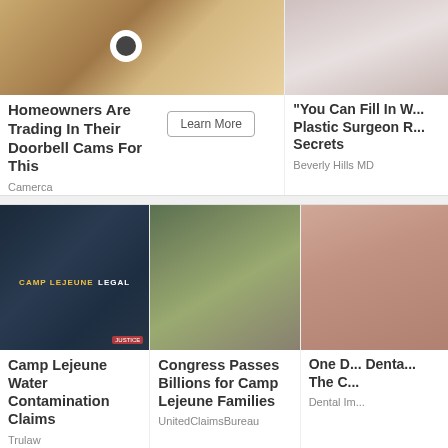[Figure (photo): Top-left: drone/doorbell camera product image on sandy background]
Homeowners Are Trading In Their Doorbell Cams For This
Camerca
[Figure (photo): Top-right: person in white shirt, partial view, plastic surgery context]
"You Can Fill In W... Plastic Surgeon R... Secrets
Beverly Hills MD
[Figure (photo): Bottom-left: dark background with dog tags and CAMP LEJEUNE LEGAL text]
Camp Lejeune Water Contamination Claims
Trulaw
[Figure (photo): Bottom-center: soldier in camouflage gear with helmet looking through scope]
Congress Passes Billions for Camp Lejeune Families
UnitedClaimsBureau
[Figure (photo): Bottom-right: partial close-up skin/face image, dental implant context]
One D... Denta... The C...
Dental Im...